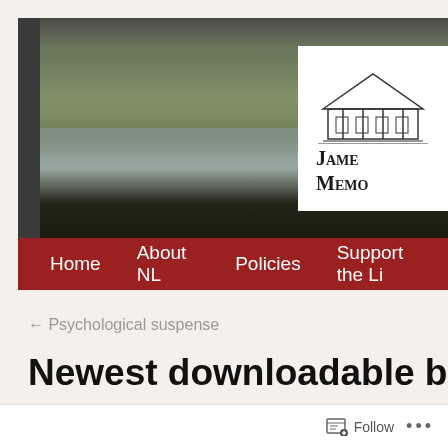[Figure (screenshot): Library website header with black and white photograph of a lake and hillside landscape, with a logo box (white background, building illustration, text 'James Memorial' in small-caps) in the upper right corner, and a dark red navigation bar with menu items: Home, About NL, Policies, Support the Li...]
← Psychological suspense
Newest downloadable book
Follow ...